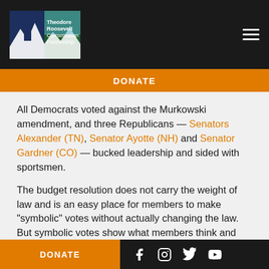Theodore Roosevelt Conservation Partnership — navigation header with logo and hamburger menu
DONATE
All Democrats voted against the Murkowski amendment, and three Republicans — Senators Alexander (TN), Senator Ayotte (NH) and Senator Gardner (CO) — bucked leadership and sided with sportsmen.
The budget resolution does not carry the weight of law and is an easy place for members to make "symbolic" votes without actually changing the law. But symbolic votes show what members think and what they think is important.
DONATE | social icons: Facebook, Instagram, Twitter, YouTube